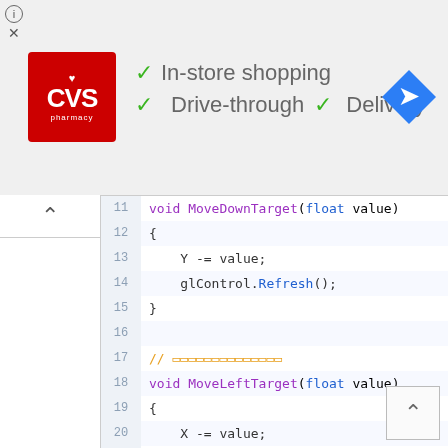[Figure (screenshot): CVS Pharmacy advertisement banner with checkmarks for In-store shopping, Drive-through, and Delivery services, with a navigation arrow icon on the right]
[Figure (screenshot): Code editor showing C# methods MoveDownTarget, MoveLeftTarget, MoveRightTarget, and the beginning of MoveRightTarget and MoveFrontTarget, with line numbers 11-32, syntax highlighted in purple, blue, and orange]